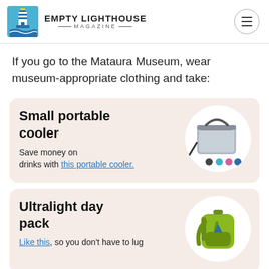EMPTY LIGHTHOUSE MAGAZINE
If you go to the Mataura Museum, wear museum-appropriate clothing and take:
Small portable cooler — Save money on drinks with this portable cooler.
Ultralight day pack — Like this, so you don't have to lug